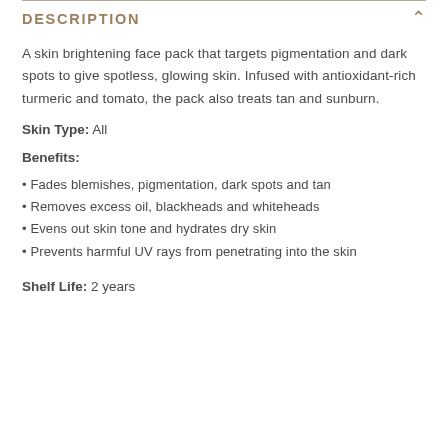DESCRIPTION
A skin brightening face pack that targets pigmentation and dark spots to give spotless, glowing skin. Infused with antioxidant-rich turmeric and tomato, the pack also treats tan and sunburn.
Skin Type: All
Benefits:
Fades blemishes, pigmentation, dark spots and tan
Removes excess oil, blackheads and whiteheads
Evens out skin tone and hydrates dry skin
Prevents harmful UV rays from penetrating into the skin
Shelf Life: 2 years